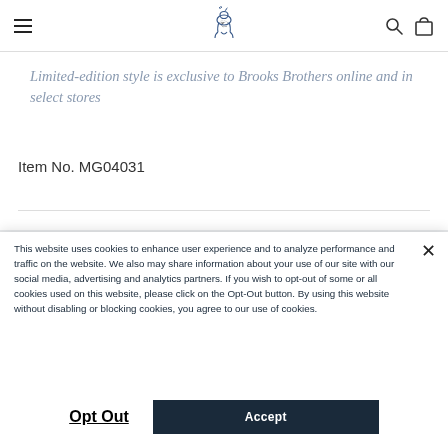[Figure (logo): Brooks Brothers navigation bar with hamburger menu, horse logo, search icon, and bag icon]
Limited-edition style is exclusive to Brooks Brothers online and in select stores
Item No. MG04031
This website uses cookies to enhance user experience and to analyze performance and traffic on the website. We also may share information about your use of our site with our social media, advertising and analytics partners. If you wish to opt-out of some or all cookies used on this website, please click on the Opt-Out button. By using this website without disabling or blocking cookies, you agree to our use of cookies.